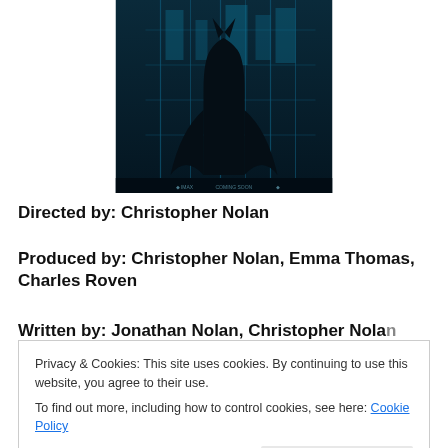[Figure (photo): Movie poster for The Dark Knight — a silhouetted caped figure stands before a glowing teal cityscape viewed through tall windows. Small text at bottom reads 'COMING SOON'.]
Directed by: Christopher Nolan
Produced by: Christopher Nolan, Emma Thomas, Charles Roven
Written by: Jonathan Nolan, Christopher Nolan (partially visible)
Privacy & Cookies: This site uses cookies. By continuing to use this website, you agree to their use.
To find out more, including how to control cookies, see here: Cookie Policy
Starring: Christian Bale, Heath Ledger, Michael Caine,